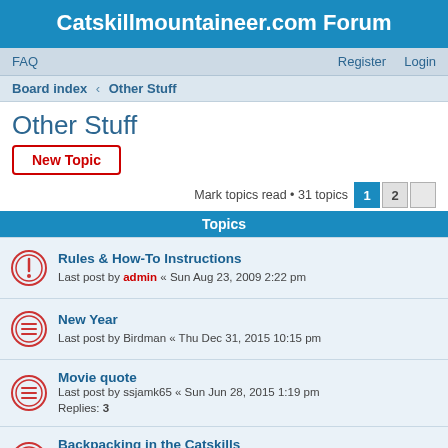Catskillmountaineer.com Forum
FAQ   Register   Login
Board index › Other Stuff
Other Stuff
New Topic
Mark topics read • 31 topics  1  2
Topics
Rules & How-To Instructions
Last post by admin « Sun Aug 23, 2009 2:22 pm
New Year
Last post by Birdman « Thu Dec 31, 2015 10:15 pm
Movie quote
Last post by ssjamk65 « Sun Jun 28, 2015 1:19 pm
Replies: 3
Backpacking in the Catskills
Last post by kennykb « Wed Oct 29, 2014 4:27 pm
Replies: 2
Reputable Contratctors
Last post by rhodell « Tue Oct 28, 2014 12:43 pm